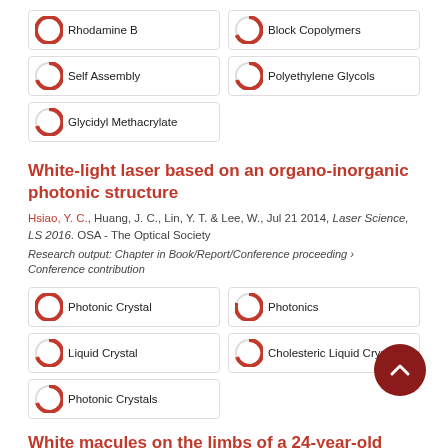Rhodamine B
Block Copolymers
Self Assembly
Polyethylene Glycols
Glycidyl Methacrylate
White-light laser based on an organo-inorganic photonic structure
Hsiao, Y. C., Huang, J. C., Lin, Y. T. & Lee, W., Jul 21 2014, Laser Science, LS 2016. OSA - The Optical Society
Research output: Chapter in Book/Report/Conference proceeding › Conference contribution
Photonic Crystal
Photonics
Liquid Crystal
Cholesteric Liquid Crystals
Photonic Crystals
White macules on the limbs of a 24-year-old man